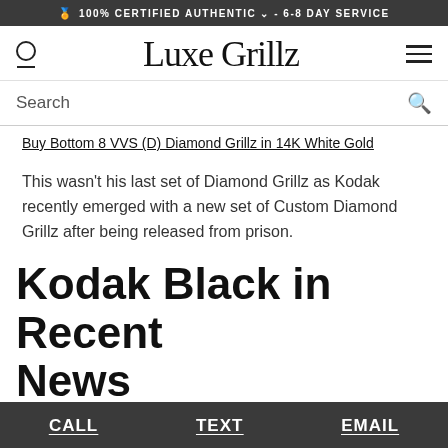🏅 100% CERTIFIED AUTHENTIC ∨ - 6-8 DAY SERVICE
Luxe Grillz
Search
Buy Bottom 8 VVS (D) Diamond Grillz in 14K White Gold
This wasn't his last set of Diamond Grillz as Kodak recently emerged with a new set of Custom Diamond Grillz after being released from prison.
Kodak Black in Recent News
CALL   TEXT   EMAIL